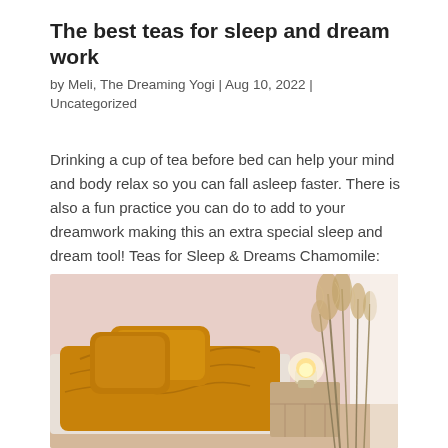The best teas for sleep and dream work
by Meli, The Dreaming Yogi | Aug 10, 2022 | Uncategorized
Drinking a cup of tea before bed can help your mind and body relax so you can fall asleep faster. There is also a fun practice you can do to add to your dreamwork making this an extra special sleep and dream tool! Teas for Sleep & Dreams Chamomile: Known as a...
[Figure (photo): A cozy bedroom scene with golden/ochre bedding and pillows on a low bed, a small glowing lamp on a wooden nightstand, and tall dried pampas grass in the background against a pink wall.]